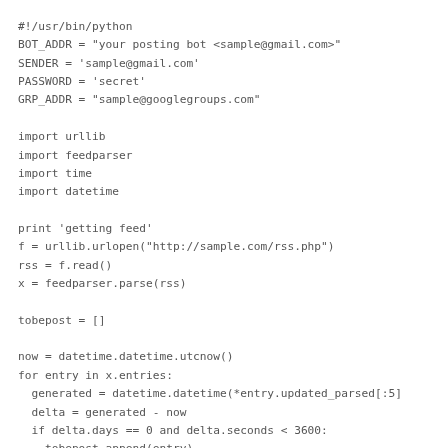#!/usr/bin/python
BOT_ADDR = "your posting bot <sample@gmail.com>"
SENDER = 'sample@gmail.com'
PASSWORD = 'secret'
GRP_ADDR = "sample@googlegroups.com"

import urllib
import feedparser
import time
import datetime

print 'getting feed'
f = urllib.urlopen("http://sample.com/rss.php")
rss = f.read()
x = feedparser.parse(rss)

tobepost = []

now = datetime.datetime.utcnow()
for entry in x.entries:
  generated = datetime.datetime(*entry.updated_parsed[:5]
  delta = generated - now
  if delta.days == 0 and delta.seconds < 3600:
    tobepost.append(entry)